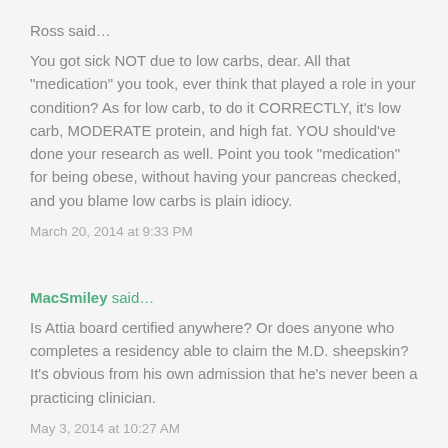Ross said…
You got sick NOT due to low carbs, dear. All that "medication" you took, ever think that played a role in your condition? As for low carb, to do it CORRECTLY, it's low carb, MODERATE protein, and high fat. YOU should've done your research as well. Point you took "medication" for being obese, without having your pancreas checked, and you blame low carbs is plain idiocy.
March 20, 2014 at 9:33 PM
MacSmiley said…
Is Attia board certified anywhere? Or does anyone who completes a residency able to claim the M.D. sheepskin? It's obvious from his own admission that he's never been a practicing clinician.
May 3, 2014 at 10:27 AM